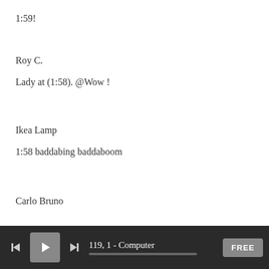1:59!
Roy C.
Lady at (1:58). @Wow !
Ikea Lamp
1:58 baddabing baddaboom
Carlo Bruno
119, 1 - Computer   FREE